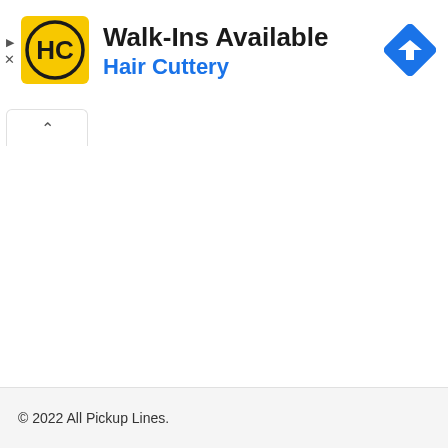[Figure (logo): Hair Cuttery HC logo — yellow square background with black circle containing stylized HC letters]
Walk-Ins Available
Hair Cuttery
[Figure (other): Blue diamond-shaped navigation/directions icon with white right-turn arrow]
^
© 2022 All Pickup Lines.